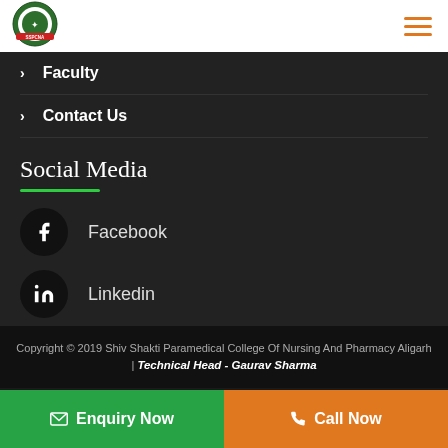[Figure (logo): Shiv Shakti Paramedical College circular logo with green and red design]
> Faculty
> Contact Us
Social Media
Facebook
Linkedin
Twitter
Copyright © 2019 Shiv Shakti Paramedical College Of Nursing And Pharmacy Aligarh | Technical Head - Gaurav Sharma
Enquiry Now
Call Now